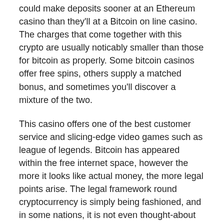could make deposits sooner at an Ethereum casino than they'll at a Bitcoin on line casino. The charges that come together with this crypto are usually noticably smaller than those for bitcoin as properly. Some bitcoin casinos offer free spins, others supply a matched bonus, and sometimes you'll discover a mixture of the two.
This casino offers one of the best customer service and slicing-edge video games such as league of legends. Bitcoin has appeared within the free internet space, however the more it looks like actual money, the more legal points arise. The legal framework round cryptocurrency is simply being fashioned, and in some nations, it is not even thought-about cash. However, within the next 12 months or two, the situation will change, for instance, within the United States, transactions in bitcoins are taxed on an equal foundation with everyone else.